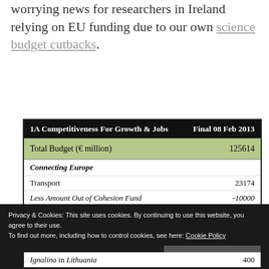worrying news for researchers in Ireland relying on EU funding due to our own science budget cutbacks.
| 1A Competitiveness For Growth & Jobs | Final 08 Feb 2013 |
| --- | --- |
| Total Budget (€ million) | 125614 |
| Connecting Europe |  |
| Transport | 23174 |
| Less Amount Out of Cohesion Fund | -10000 |
| Energy | 5126 |
| Telecommunications | 1000 |
| Subtotal | 19300 |
Privacy & Cookies: This site uses cookies. By continuing to use this website, you agree to their use.
To find out more, including how to control cookies, see here: Cookie Policy
|  |  |
| --- | --- |
| Ignalina in Lithuania | 400 |